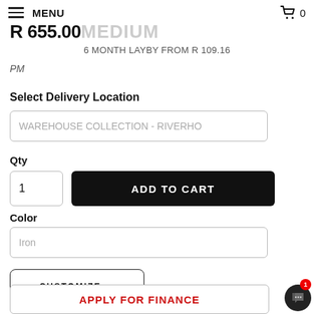MENU | Cart 0
R 655.00 MEDIUM
6 MONTH LAYBY FROM R 109.16
PM
Select Delivery Location
WAREHOUSE COLLECTION - RIVERHO
Qty
1
ADD TO CART
Color
Iron
CUSTOMIZE ▶
APPLY FOR FINANCE